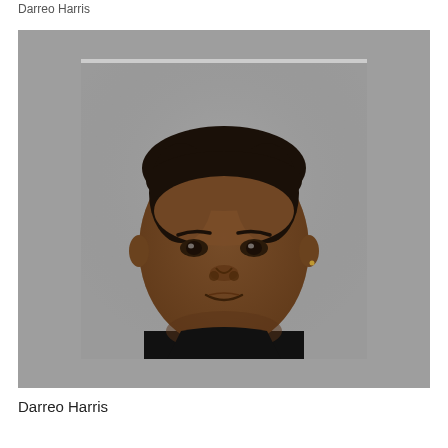Darreo Harris
[Figure (photo): Mugshot/booking photo of Darreo Harris, a young Black male wearing a black shirt, photographed against a gray background in a standard law enforcement booking photo format.]
Darreo Harris